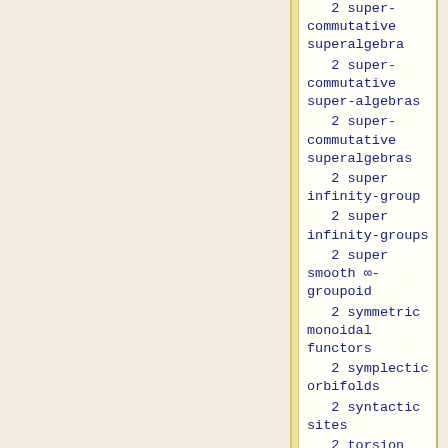2 super-commutative superalgebra
2 super-commutative super-algebras
2 super-commutative superalgebras
2 super infinity-group
2 super infinity-groups
2 super smooth ∞-groupoid
2 symmetric monoidal functors
2 symplectic orbifolds
2 syntactic sites
2 torsion groups